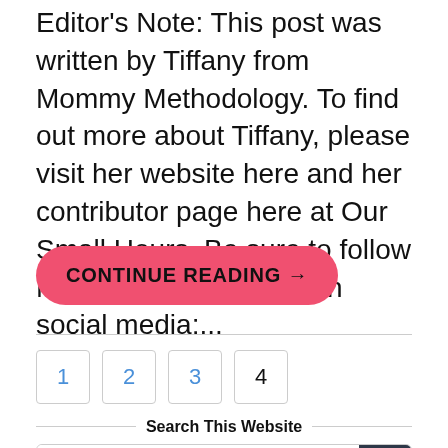Editor's Note:  This post was written by Tiffany from Mommy Methodology.  To find out more about Tiffany, please visit her website here and her contributor page here at Our Small Hours.  Be sure to follow Mommy Methodology on social media:...
CONTINUE READING →
1  2  3  4
Search This Website